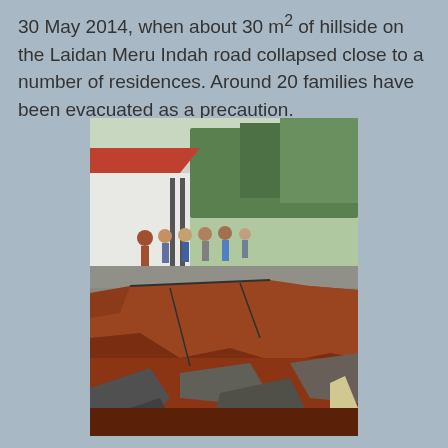30 May 2014, when about 30 m² of hillside on the Laidan Meru Indah road collapsed close to a number of residences. Around 20 families have been evacuated as a precaution.
[Figure (photo): A photograph showing a large road collapse or landslide. People stand on intact pavement in the background near a building with a canopy, with trees visible. The foreground shows cracked and broken asphalt with large chunks fallen into a reddish-brown eroded earth chasm.]